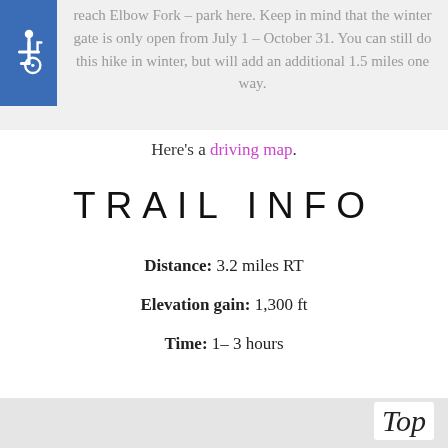reach Elbow Fork – park here. Keep in mind that the winter gate is only open from July 1 – October 31. You can still do this hike in winter, but will add an additional 1.5 miles one way.
Here's a driving map.
TRAIL INFO
Distance: 3.2 miles RT
Elevation gain: 1,300 ft
Time: 1– 3 hours